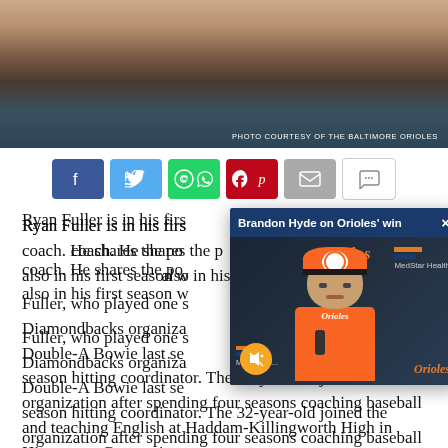[Figure (photo): Close-up photo of a smiling young man (Ryan Fuller) from the chest up, against a dark background. Photo credit reads 'PHOTO COURTESY OF THE BALTIMORE ORIOLES'.]
[Figure (infographic): Social media share buttons row: Facebook (blue), Twitter (light blue), WhatsApp (green), Pinterest (red), Email (gray), Comments (white/gray).]
Ryan Fuller is in his first season with the Orioles as a hitting coach. He shares the position with Matt Borgschulte, who is also in his first season with the club.
[Figure (screenshot): Video popup overlay titled 'Brandon Hyde on Orioles' win' showing Brandon Hyde in an orange Orioles jacket at a press conference podium, with Orioles and MedStar Health logos visible.]
Fuller, who played one season in the Arizona Diamondbacks organization, served as the hitting coach at Double-A Bowie last season and as a minor league off-season hitting coordinator. The 32-year-old joined the organization after spending four seasons coaching baseball and teaching English at Haddam-Killingworth High in Higganum, Connecticut.